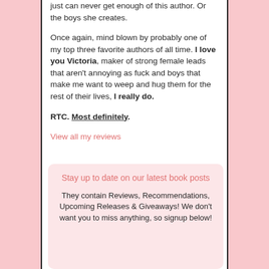just can never get enough of this author. Or the boys she creates.
Once again, mind blown by probably one of my top three favorite authors of all time. I love you Victoria, maker of strong female leads that aren't annoying as fuck and boys that make me want to weep and hug them for the rest of their lives, I really do.
RTC. Most definitely.
View all my reviews
Stay up to date on our latest book posts
They contain Reviews, Recommendations, Upcoming Releases & Giveaways! We don't want you to miss anything, so signup below!